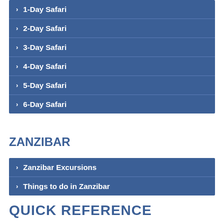1-Day Safari
2-Day Safari
3-Day Safari
4-Day Safari
5-Day Safari
6-Day Safari
ZANZIBAR
Zanzibar Excursions
Things to do in Zanzibar
QUICK REFERENCE